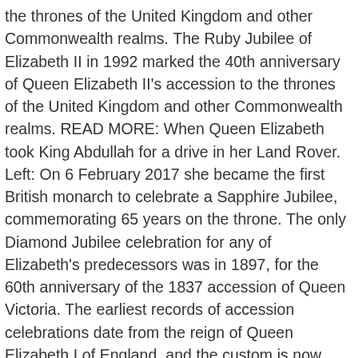the thrones of the United Kingdom and other Commonwealth realms. The Ruby Jubilee of Elizabeth II in 1992 marked the 40th anniversary of Queen Elizabeth II's accession to the thrones of the United Kingdom and other Commonwealth realms. READ MORE: When Queen Elizabeth took King Abdullah for a drive in her Land Rover. Left: On 6 February 2017 she became the first British monarch to celebrate a Sapphire Jubilee, commemorating 65 years on the throne. The only Diamond Jubilee celebration for any of Elizabeth's predecessors was in 1897, for the 60th anniversary of the 1837 accession of Queen Victoria. The earliest records of accession celebrations date from the reign of Queen Elizabeth I of England, and the custom is now observed in many nations. The Ruby Jubilee of Elizabeth II in 1992 marked the 40th anniversary of Queen Elizabeth II's accession to the thrones of the United Kingdom and other Commonwealth realms. Queen Elizabeth II celebrated her Silver Jubilee in 1977, marking 25 years on the throne. She has visited Canada 22 times, the largest number of trips to any nation. Also, The Queen did not undertake